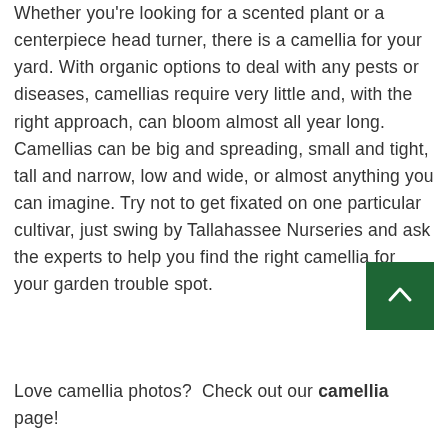Whether you're looking for a scented plant or a centerpiece head turner, there is a camellia for your yard. With organic options to deal with any pests or diseases, camellias require very little and, with the right approach, can bloom almost all year long. Camellias can be big and spreading, small and tight, tall and narrow, low and wide, or almost anything you can imagine. Try not to get fixated on one particular cultivar, just swing by Tallahassee Nurseries and ask the experts to help you find the right camellia for your garden trouble spot.
Love camellia photos?  Check out our camellia page!